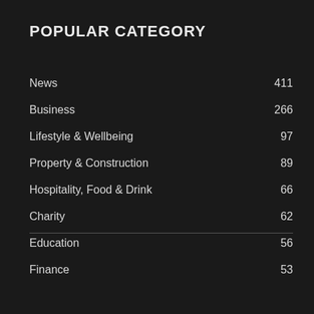POPULAR CATEGORY
News 411
Business 266
Lifestyle & Wellbeing 97
Property & Construction 89
Hospitality, Food & Drink 66
Charity 62
Education 56
Finance 53